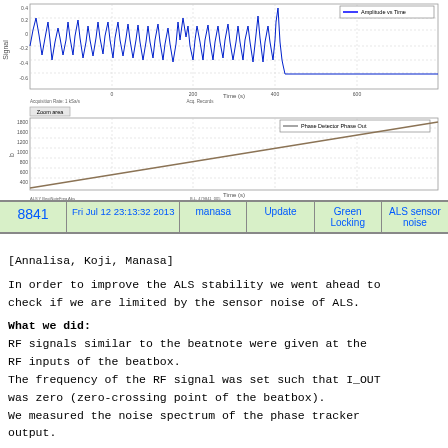[Figure (continuous-plot): Top waveform plot showing oscillating blue signal (beatnote signal) over time, with legend 'Amplitude vs Time' in upper right. Y-axis labeled 'Signal', x-axis labeled 'Time (s)'. Signal shows irregular high-amplitude oscillations followed by a flat region.]
[Figure (continuous-plot): Bottom ramp plot showing a linearly increasing brown/olive line over time. Y-axis labeled 'b', x-axis labeled 'Time (s)'. Legend reads 'Phase Detector Phase Out'. Small annotation text below x-axis.]
| 8841 | Fri Jul 12 23:13:32 2013 | manasa | Update | Green Locking | ALS sensor noise |
| --- | --- | --- | --- | --- | --- |
[Annalisa, Koji, Manasa]

In order to improve the ALS stability we went ahead to check if we are limited by the sensor noise of ALS.

What we did:
RF signals similar to the beatnote were given at the RF inputs of the beatbox.
The frequency of the RF signal was set such that I_OUT was zero (zero-crossing point of the beatbox).
We measured the noise spectrum of the phase tracker output.